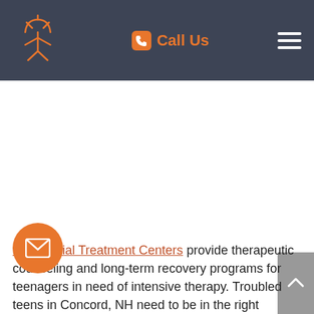Call Us
[Figure (photo): Large white blank content area (image not visible)]
Residential Treatment Centers provide therapeutic counseling and long-term recovery programs for teenagers in need of intensive therapy. Troubled teens in Concord, NH need to be in the right